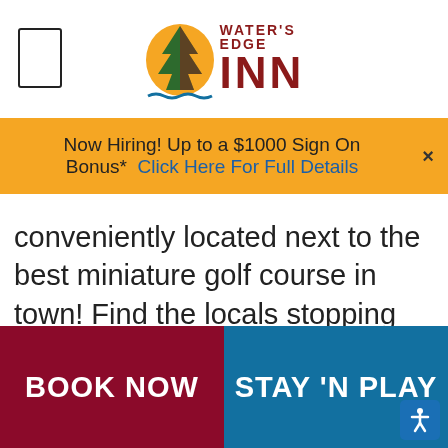[Figure (logo): Water's Edge Inn logo with pine tree graphic and wavy underline]
Now Hiring! Up to a $1000 Sign On Bonus* Click Here For Full Details
conveniently located next to the best miniature golf course in town! Find the locals stopping by here with family and friends for Benny's famous flavor blasters and razzles!
BOOK NOW
STAY 'N PLAY